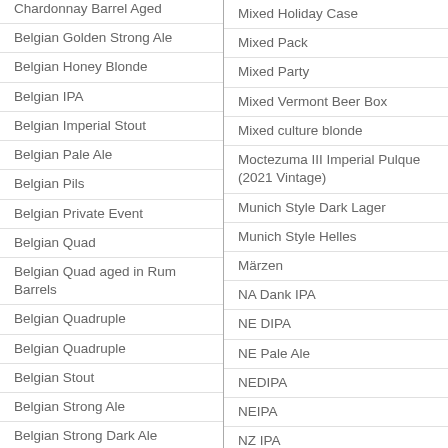Chardonnay Barrel Aged
Belgian Golden Strong Ale
Belgian Honey Blonde
Belgian IPA
Belgian Imperial Stout
Belgian Pale Ale
Belgian Pils
Belgian Private Event
Belgian Quad
Belgian Quad aged in Rum Barrels
Belgian Quadruple
Belgian Quadruple
Belgian Stout
Belgian Strong Ale
Belgian Strong Dark Ale
Mixed Holiday Case
Mixed Pack
Mixed Party
Mixed Vermont Beer Box
Mixed culture blonde
Moctezuma III Imperial Pulque (2021 Vintage)
Munich Style Dark Lager
Munich Style Helles
Märzen
NA Dank IPA
NE DIPA
NE Pale Ale
NEDIPA
NEIPA
NZ IPA
New Zealand DIPA...